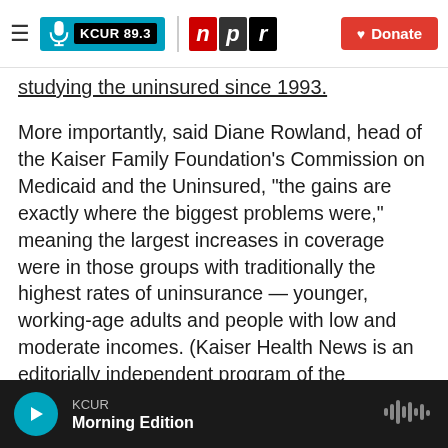KCUR 89.3 | npr | Donate
studying the uninsured since 1993.
More importantly, said Diane Rowland, head of the Kaiser Family Foundation's Commission on Medicaid and the Uninsured, "the gains are exactly where the biggest problems were," meaning the largest increases in coverage were in those groups with traditionally the highest rates of uninsurance — younger, working-age adults and people with low and moderate incomes. (Kaiser Health News is an editorially independent program of the foundation.)
Despite the gains, the Census study found that 33 million people are without insurance.
KCUR — Morning Edition